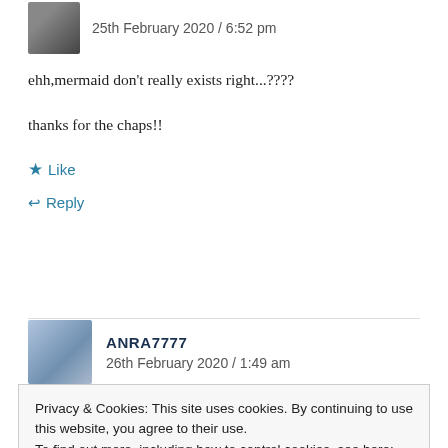25th February 2020 / 6:52 pm
ehh,mermaid don't really exists right...????
thanks for the chaps!!
★ Like
↩ Reply
ANRA7777
26th February 2020 / 1:49 am
Privacy & Cookies: This site uses cookies. By continuing to use this website, you agree to their use.
To find out more, including how to control cookies, see here: Cookie Policy
Close and accept